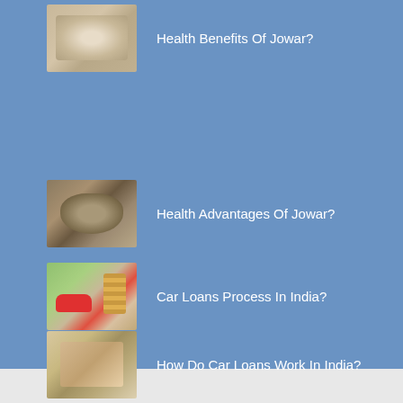Health Benefits Of Jowar?
Health Advantages Of Jowar?
Car Loans Process In India?
How Do Car Loans Work In India?